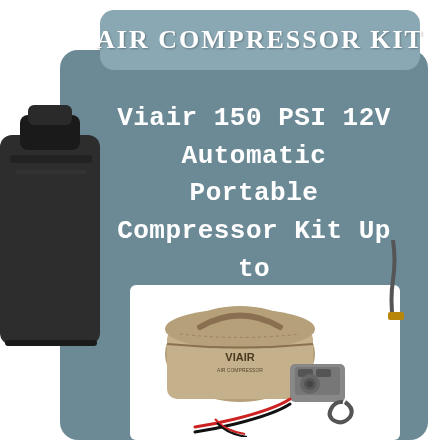Air Compressor Kit
Viair 150 PSI 12V Automatic Portable Compressor Kit Up to 35 Inch Tire 40045
[Figure (photo): Product photo of Viair air compressor kit with tan carrying bag labeled VIAIR, compressor unit, and cables/hoses on white background]